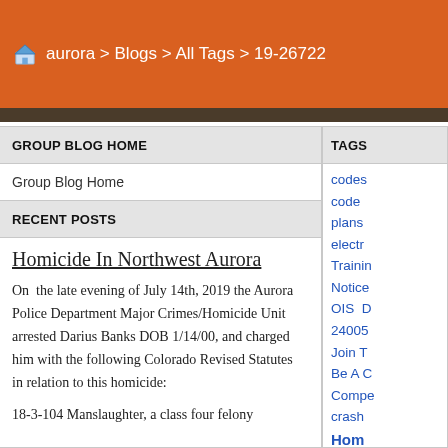aurora > Blogs > All Tags > 19-26722
GROUP BLOG HOME
Group Blog Home
RECENT POSTS
Homicide In Northwest Aurora
On  the late evening of July 14th, 2019 the Aurora Police Department Major Crimes/Homicide Unit arrested Darius Banks DOB 1/14/00, and charged him with the following Colorado Revised Statutes in relation to this homicide:
18-3-104 Manslaughter, a class four felony
TAGS
codes
code
plans
electr
Trainin
Notice
OIS  D
24005
Join T
Be A C
Compe
crash
Hom